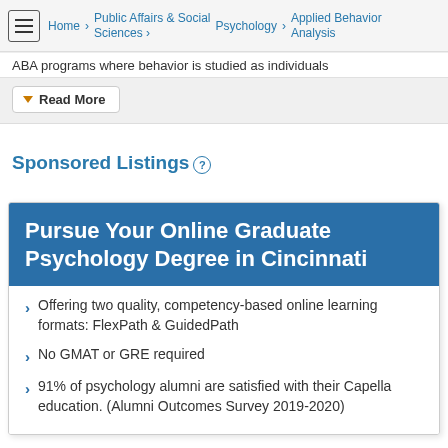Home > Public Affairs & Social Sciences > Psychology > Applied Behavior Analysis
ABA programs where behavior is studied as individuals
Read More
Sponsored Listings
Pursue Your Online Graduate Psychology Degree in Cincinnati
Offering two quality, competency-based online learning formats: FlexPath & GuidedPath
No GMAT or GRE required
91% of psychology alumni are satisfied with their Capella education. (Alumni Outcomes Survey 2019-2020)